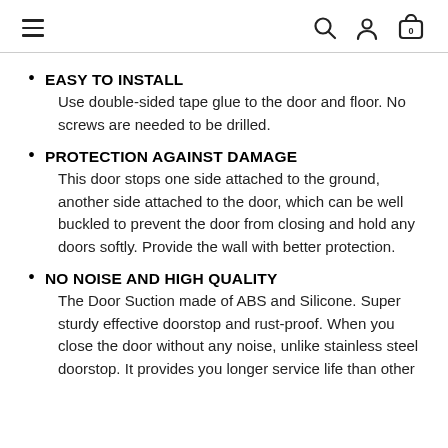Navigation header with hamburger menu, search, account, and cart icons
EASY TO INSTALL
Use double-sided tape glue to the door and floor. No screws are needed to be drilled.
PROTECTION AGAINST DAMAGE
This door stops one side attached to the ground, another side attached to the door, which can be well buckled to prevent the door from closing and hold any doors softly. Provide the wall with better protection.
NO NOISE AND HIGH QUALITY
The Door Suction made of ABS and Silicone. Super sturdy effective doorstop and rust-proof. When you close the door without any noise, unlike stainless steel doorstop. It provides you longer service life than other